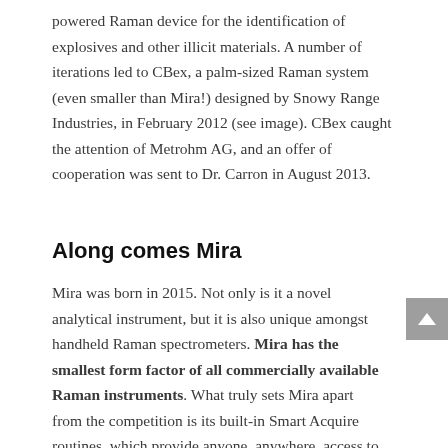powered Raman device for the identification of explosives and other illicit materials. A number of iterations led to CBex, a palm-sized Raman system (even smaller than Mira!) designed by Snowy Range Industries, in February 2012 (see image). CBex caught the attention of Metrohm AG, and an offer of cooperation was sent to Dr. Carron in August 2013.
Along comes Mira
Mira was born in 2015. Not only is it a novel analytical instrument, but it is also unique amongst handheld Raman spectrometers. Mira has the smallest form factor of all commercially available Raman instruments. What truly sets Mira apart from the competition is its built-in Smart Acquire routines, which provide anyone, anywhere, access to highly accurate analytical results. It is rugged, meeting MIL-STD 810G and IP67 specifications—you can